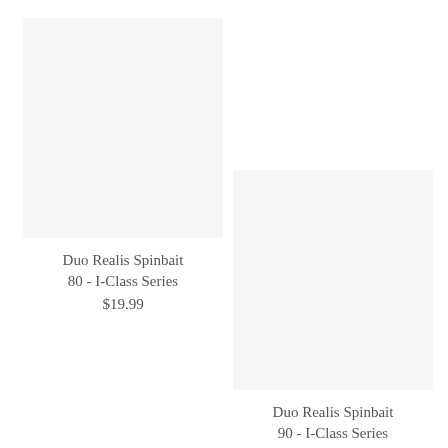[Figure (photo): Product image placeholder for Duo Realis Spinbait 80 - I-Class Series, light gray background]
Duo Realis Spinbait 80 - I-Class Series
$19.99
[Figure (photo): Product image placeholder for Duo Realis Spinbait 90 - I-Class Series, light gray background]
Duo Realis Spinbait 90 - I-Class Series
$19.99